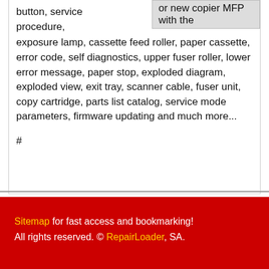button, service procedure, exposure lamp, cassette feed roller, paper cassette, error code, self diagnostics, upper fuser roller, lower error message, paper stop, exploded diagram, exploded view, exit tray, scanner cable, fuser unit, copy cartridge, parts list catalog, service mode parameters, firmware updating and much more...
or new copier MFP with the
#
Sitemap for fast access and bookmarking! All rights reserved. © RepairLoader, SA.